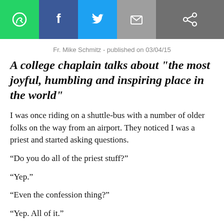[Figure (screenshot): Social media sharing toolbar with WhatsApp (green), Facebook (blue), Twitter (light blue), Email (grey), and Share (dark grey) buttons]
Fr. Mike Schmitz - published on 03/04/15
A college chaplain talks about "the most joyful, humbling and inspiring place in the world"
I was once riding on a shuttle-bus with a number of older folks on the way from an airport. They noticed I was a priest and started asking questions.
“Do you do all of the priest stuff?”
“Yep.”
“Even the confession thing?”
“Yep. All of it.”